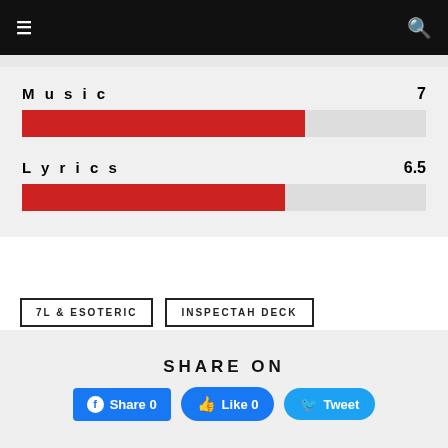Navigation bar with menu and search icons
[Figure (bar-chart): Ratings]
7L & ESOTERIC
INSPECTAH DECK
SHARE ON
Share 0  Like 0  Tweet